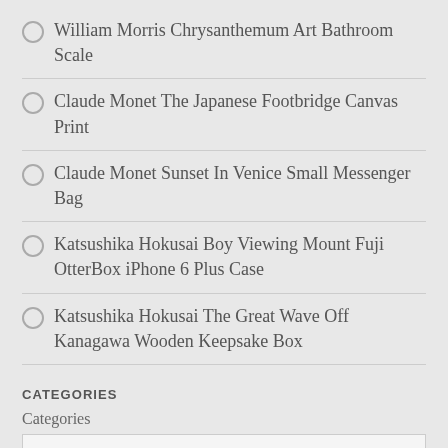William Morris Chrysanthemum Art Bathroom Scale
Claude Monet The Japanese Footbridge Canvas Print
Claude Monet Sunset In Venice Small Messenger Bag
Katsushika Hokusai Boy Viewing Mount Fuji OtterBox iPhone 6 Plus Case
Katsushika Hokusai The Great Wave Off Kanagawa Wooden Keepsake Box
CATEGORIES
Categories
Select Category
RECENT COMMENTS